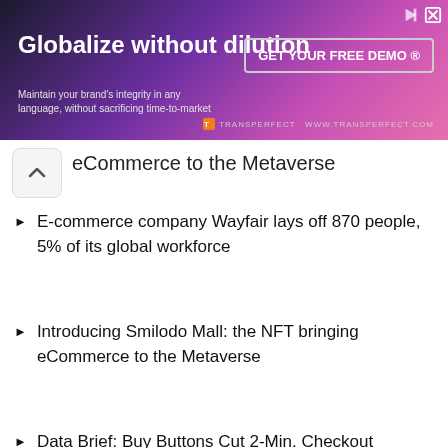[Figure (screenshot): Advertisement banner for TransPerfect: 'Globalize without dilution' with 'GET YOUR FREE DEMO' CTA button, purple/pink gradient background with person silhouette]
eCommerce to the Metaverse
E-commerce company Wayfair lays off 870 people, 5% of its global workforce
Introducing Smilodo Mall: the NFT bringing eCommerce to the Metaverse
Data Brief: Buy Buttons Cut 2-Min. Checkout Time in Half
We use cookies on our website to give you the most relevant experience by remembering your preferences and repeat visits. By clicking “Accept”, you consent to the use of ALL the cookies.
.
Settings   OK!